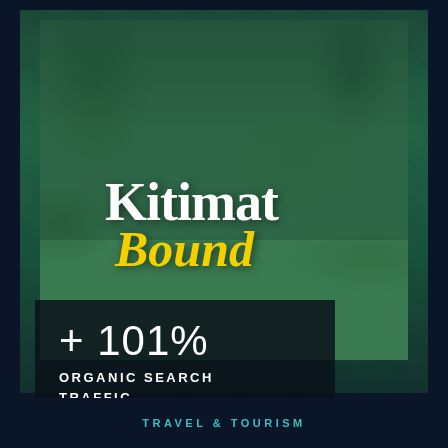[Figure (photo): Two ATV/quad bike riders wearing helmets riding through a dense green forest trail, overlaid with dark teal/green color grade]
Kitimat Bound
+ 101%
ORGANIC SEARCH TRAFFIC
TRAVEL & TOURISM